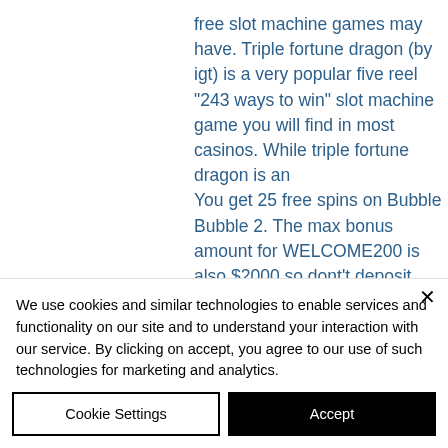free slot machine games may have. Triple fortune dragon (by igt) is a very popular five reel "243 ways to win" slot machine game you will find in most casinos. While triple fortune dragon is an
You get 25 free spins on Bubble Bubble 2. The max bonus amount for WELCOME200 is also $2000 so dont't deposit more than $1000. No Deposit Casino Bonus Codes 2018 - FAQ. What is a no deposit bonus code, free casino slot triple fortune dragons.
Today's Results:
We use cookies and similar technologies to enable services and functionality on our site and to understand your interaction with our service. By clicking on accept, you agree to our use of such technologies for marketing and analytics.